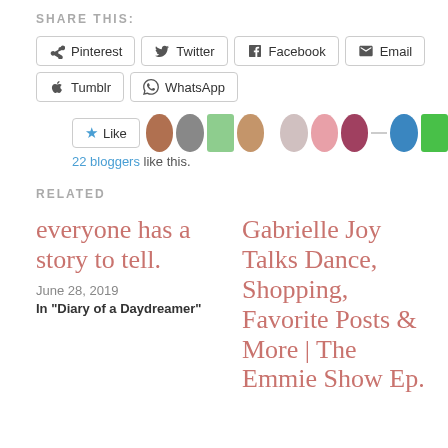SHARE THIS:
Pinterest  Twitter  Facebook  Email  Tumblr  WhatsApp
[Figure (other): Like button with star icon and row of blogger avatar thumbnails. Text: 22 bloggers like this.]
RELATED
everyone has a story to tell.
June 28, 2019
In "Diary of a Daydreamer"
Gabrielle Joy Talks Dance, Shopping, Favorite Posts & More | The Emmie Show Ep.